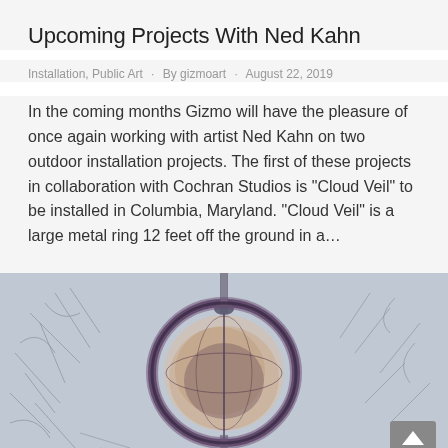Upcoming Projects With Ned Kahn
Installation, Public Art · By gizmoart · August 22, 2019
In the coming months Gizmo will have the pleasure of once again working with artist Ned Kahn on two outdoor installation projects. The first of these projects in collaboration with Cochran Studios is "Cloud Veil" to be installed in Columbia, Maryland. "Cloud Veil" is a large metal ring 12 feet off the ground in a…
[Figure (illustration): Sketch/illustration of a circular mechanical or sculptural ring structure resembling a globe or veil, drawn in pencil with purple/brown tones, on a grey-blue background.]